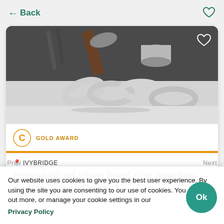← Back
[Figure (photo): Photo of several personalised silver band rings with stamped patterns, alongside silversmithing tools including a hammer, on a white surface.]
GOLD AWARD
IVYBRIDGE
Personalised silver band ring jewellery course, South Devon
Our website uses cookies to give you the best user experience. By using the site you are consenting to our use of cookies. You can find out more, or manage your cookie settings in our Privacy Policy